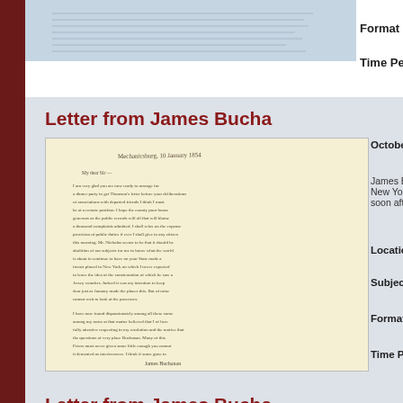[Figure (photo): Scanned handwritten letter, top portion visible, light blue-gray tint]
Format
Time Pe
Letter from James Bucha
[Figure (photo): Scanned handwritten letter from James Buchanan, full page visible on cream/yellow paper]
October
James B
New Yo
soon aft
Locatio
Subject
Format
Time Pe
Letter from James Bucha